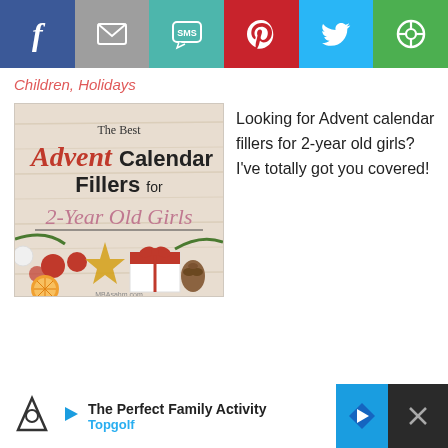[Figure (infographic): Social sharing bar with buttons: Facebook (blue), Email (grey), SMS (teal), Pinterest (red), Twitter (light blue), Other (green)]
Children, Holidays
[Figure (illustration): Blog post thumbnail image reading 'The Best Advent Calendar Fillers for 2-Year Old Girls' with Christmas decorations on a rustic wooden background. MBAsahm.com watermark.]
Looking for Advent calendar fillers for 2-year old girls?  I've totally got you covered!
[Figure (infographic): Advertisement bar: 'The Perfect Family Activity – Topgolf' with Topgolf logo and navigation arrow icon.]